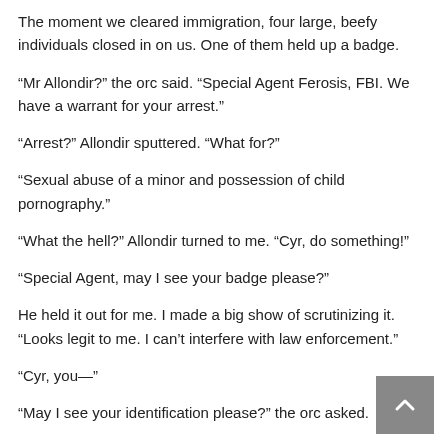The moment we cleared immigration, four large, beefy individuals closed in on us. One of them held up a badge.
“Mr Allondir?” the orc said. “Special Agent Ferosis, FBI. We have a warrant for your arrest.”
“Arrest?” Allondir sputtered. “What for?”
“Sexual abuse of a minor and possession of child pornography.”
“What the hell?” Allondir turned to me. “Cyr, do something!”
“Special Agent, may I see your badge please?”
He held it out for me. I made a big show of scrutinizing it. “Looks legit to me. I can’t interfere with law enforcement.”
“Cyr, you—”
“May I see your identification please?” the orc asked.